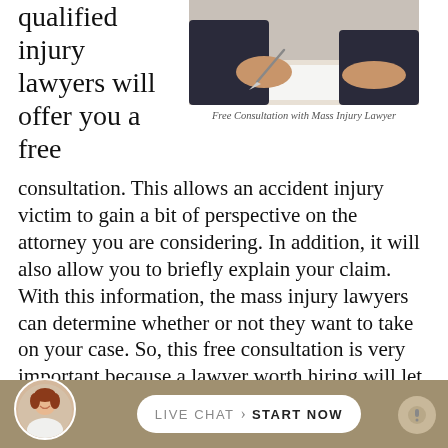qualified injury lawyers will offer you a free
[Figure (photo): Person signing or writing on a document at a desk, close-up of hands with pen on paper]
Free Consultation with Mass Injury Lawyer
consultation. This allows an accident injury victim to gain a bit of perspective on the attorney you are considering. In addition, it will also allow you to briefly explain your claim. With this information, the mass injury lawyers can determine whether or not they want to take on your case. So, this free consultation is very important because a lawyer worth hiring will let you know if another attorney might be better able to get you the best settlement.
There is no need to hesitate. Besides that, peace of mind requires that you get the best mass injury
[Figure (photo): Live chat widget at the bottom with avatar of smiling woman, LIVE CHAT START NOW button]
LIVE CHAT   START NOW